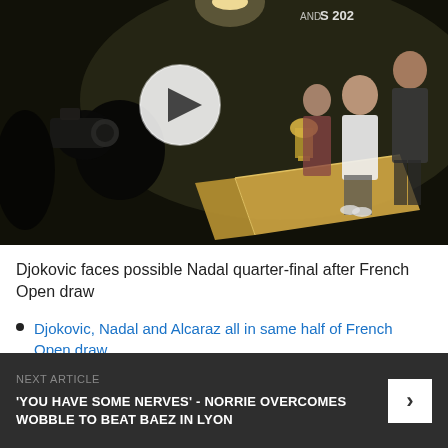[Figure (photo): Video thumbnail showing a dark scene at a Roland Garros 2022 event draw ceremony. A person in the foreground holds a camera. In the background, people stand near a golden podium/box with a trophy. A white circular play button overlay is visible in the center of the image.]
Djokovic faces possible Nadal quarter-final after French Open draw
Djokovic, Nadal and Alcaraz all in same half of French Open draw
NEXT ARTICLE
'YOU HAVE SOME NERVES' - NORRIE OVERCOMES WOBBLE TO BEAT BAEZ IN LYON